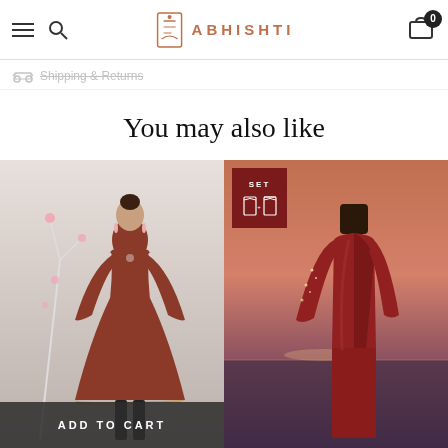ABHISHTI
Shipping & Returns
You may also like
[Figure (photo): Woman wearing a dark red/maroon long-sleeve flared dress with a keyhole neckline, posed against a white floral background. ADD TO CART button overlay at bottom.]
[Figure (photo): Woman wearing a maroon/deep red outfit (kurta set) against a sunset background. SET badge in top left corner showing two garment icons.]